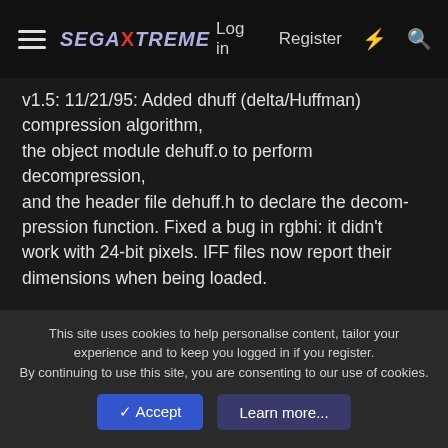SegaXtreme — Log in   Register
v1.5: 11/21/95: Added dhuff (delta/Huffman) compression algorithm, the object module dehuff.o to perform decompression, and the header file dehuff.h to declare the decompression function. Fixed a bug in rgbhi: it didn't work with 24-bit pixels. IFF files now report their dimensions when being loaded.
v1.4b: 10/03/95: Added ppp command. Fixed bug in parsing iff files. Fixed bug in parsing 16-bit tga files. Identifiers in assembler source files are now declared global. Added rgbhi command. Added trans command. Changed
This site uses cookies to help personalise content, tailor your experience and to keep you logged in if you register.
By continuing to use this site, you are consenting to our use of cookies.